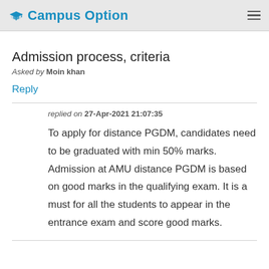Campus Option
Admission process, criteria
Asked by Moin khan
Reply
replied on 27-Apr-2021 21:07:35
To apply for distance PGDM, candidates need to be graduated with min 50% marks. Admission at AMU distance PGDM is based on good marks in the qualifying exam. It is a must for all the students to appear in the entrance exam and score good marks.